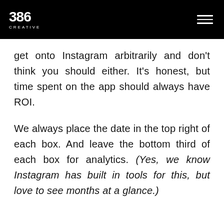386 CREATIVE
get onto Instagram arbitrarily and don't think you should either. It's honest, but time spent on the app should always have ROI.
We always place the date in the top right of each box. And leave the bottom third of each box for analytics. (Yes, we know Instagram has built in tools for this, but love to see months at a glance.)